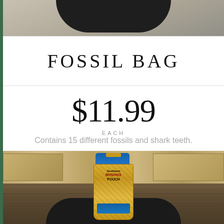[Figure (photo): Top portion of a dark plate on a textured background, cropped]
FOSSIL BAG
$11.99
EACH
Contains 15 different fossils and shark teeth.
[Figure (photo): A mining pouch bag filled with sand/material containing fossils, placed on a dark plate against a stone and wood background]